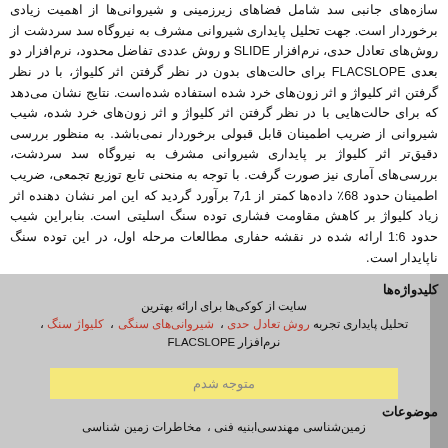سازه‌های جانبی سد شامل فضاهای زیرزمینی و شیروانی‌ها از اهمیت زیادی برخوردار است. جهت تحلیل پایداری شیروانی مشرف به نیروگاه سد سردشت از روش‌های تعادل حدی، نرم‌افزار SLIDE و روش عددی تفاضل محدود، نرم‌افزار دو بعدی FLACSLOPE برای حالت‌های بدون در نظر گرفتن اثر کلیواژ، با در نظر گرفتن اثر کلیواژ و اثر زون‌های خرد شده استفاده شده‌است. نتایج نشان می‌دهد که برای حالت‌هایی با در نظر گرفتن اثر کلیواژ و اثر زون‌های خرد شده، شیب شیروانی از ضریب اطمینان قابل قبولی برخوردار نمی‌باشد. به منظور بررسی دقیق‌تر اثر کلیواژ بر پایداری شیروانی مشرف به نیروگاه سد سردشت، بررسی‌های آماری نیز صورت گرفت. با توجه به منحنی تابع توزیع تجمعی، ضریب اطمینان حدود 68٪ داده‌ها کمتر از 7٫1 برآورد گردید که این امر نشان دهنده اثر زیاد کلیواژ بر کاهش مقاومت فشاری توده سنگ اسلیتی است. بنابراین شیب حدود 1:6 ارائه شده در نقشه حفاری مطالعات مرحله اول، در این توده سنگ ناپایدار است.
کلیدواژه‌ها
سایت از کوکی‌ها برای ارائه بهترین
تحلیل پایداری تجربه روش تعادل حدی ، شیروانی‌های سنگی ، کلیواژ سنگ ،
نرم‌افزار FLACSLOPE
متوجه شدم
موضوعات
زمین‌شناسی مهندسی‌ابنیه فنی ، مخاطرات زمین شناسی